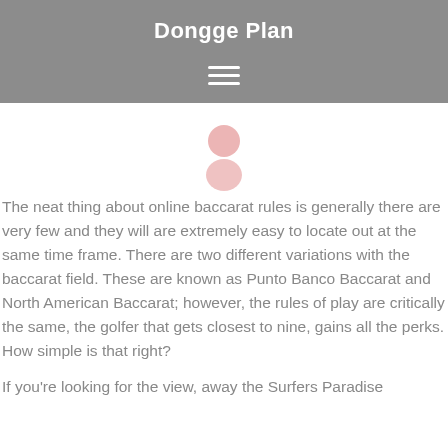Dongge Plan
[Figure (illustration): Hamburger menu icon with three white horizontal lines on grey background]
[Figure (illustration): Pink person/avatar icon silhouette]
The neat thing about online baccarat rules is generally there are very few and they will are extremely easy to locate out at the same time frame. There are two different variations with the baccarat field. These are known as Punto Banco Baccarat and North American Baccarat; however, the rules of play are critically the same, the golfer that gets closest to nine, gains all the perks. How simple is that right?
If you're looking for the view, away the Surfers Paradise